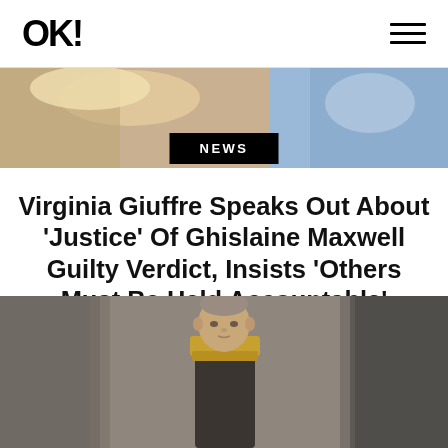OK!
[Figure (photo): Top banner showing two people, one with blonde hair on the left and another in blue on the right]
NEWS
Virginia Giuffre Speaks Out About 'Justice' Of Ghislaine Maxwell Guilty Verdict, Insists 'Others Must Be Held Accountable'
[Figure (photo): A man in military dress uniform photographed outdoors]